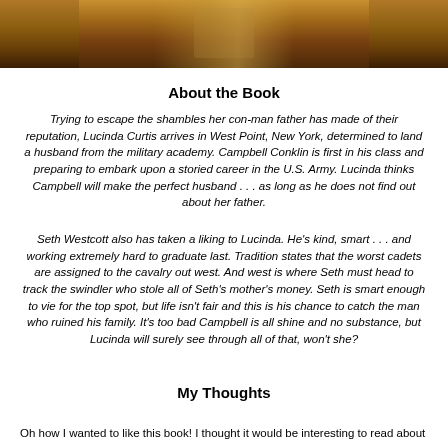[Figure (photo): Partial photo at top of page showing what appears to be a person in period clothing, cropped at the bottom of a book cover image, warm brown/orange tones]
About the Book
Trying to escape the shambles her con-man father has made of their reputation, Lucinda Curtis arrives in West Point, New York, determined to land a husband from the military academy. Campbell Conklin is first in his class and preparing to embark upon a storied career in the U.S. Army. Lucinda thinks Campbell will make the perfect husband . . . as long as he does not find out about her father.
Seth Westcott also has taken a liking to Lucinda. He's kind, smart . . . and working extremely hard to graduate last. Tradition states that the worst cadets are assigned to the cavalry out west. And west is where Seth must head to track the swindler who stole all of Seth's mother's money. Seth is smart enough to vie for the top spot, but life isn't fair and this is his chance to catch the man who ruined his family. It's too bad Campbell is all shine and no substance, but Lucinda will surely see through all of that, won't she?
My Thoughts
Oh how I wanted to like this book! I thought it would be interesting to read about